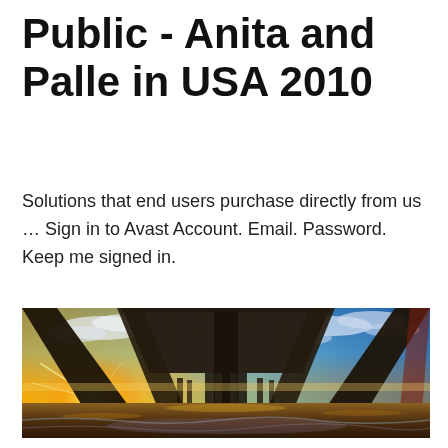Public - Anita and Palle in USA 2010
Solutions that end users purchase directly from us … Sign in to Avast Account. Email. Password. Keep me signed in.
[Figure (photo): View from underneath a wooden pier at sunset/sunrise over the ocean. The scene shows dramatic perspective of pier supports converging toward the horizon with vibrant orange, yellow, blue and golden sky with scattered clouds. Sun flare visible on the lower left. Ocean water reflects the warm colors.]